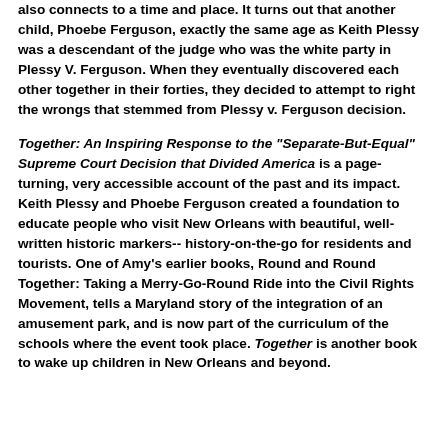also connects to a time and place. It turns out that another child, Phoebe Ferguson, exactly the same age as Keith Plessy was a descendant of the judge who was the white party in Plessy V. Ferguson. When they eventually discovered each other together in their forties, they decided to attempt to right the wrongs that stemmed from Plessy v. Ferguson decision.
Together: An Inspiring Response to the "Separate-But-Equal" Supreme Court Decision that Divided America is a page-turning, very accessible account of the past and its impact. Keith Plessy and Phoebe Ferguson created a foundation to educate people who visit New Orleans with beautiful, well-written historic markers-- history-on-the-go for residents and tourists. One of Amy's earlier books, Round and Round Together: Taking a Merry-Go-Round Ride into the Civil Rights Movement, tells a Maryland story of the integration of an amusement park, and is now part of the curriculum of the schools where the event took place. Together is another book to wake up children in New Orleans and beyond.